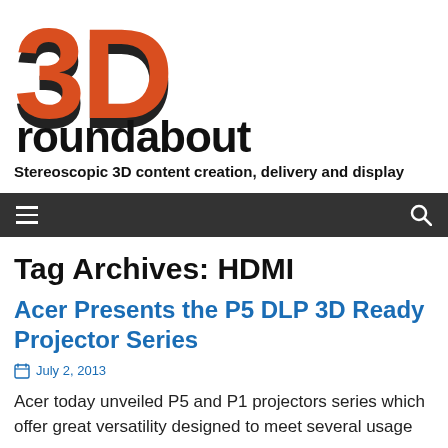[Figure (logo): 3D Roundabout logo: large stylized '3D' in orange/red with dark outline, and 'roundabout' text below in black bold sans-serif]
Stereoscopic 3D content creation, delivery and display
[Figure (screenshot): Dark navigation bar with hamburger menu icon on left and search icon on right]
Tag Archives: HDMI
Acer Presents the P5 DLP 3D Ready Projector Series
July 2, 2013
Acer today unveiled P5 and P1 projectors series which offer great versatility designed to meet several usage